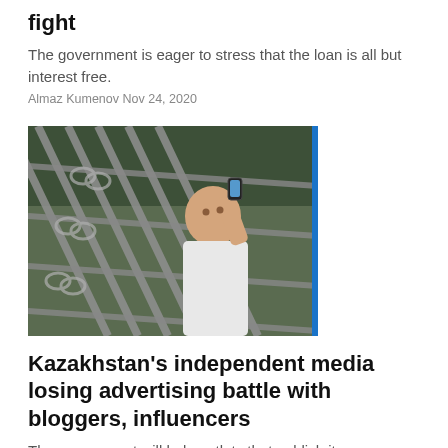fight
The government is eager to stress that the loan is all but interest free.
Almaz Kumenov Nov 24, 2020
[Figure (photo): A man on a phone behind metal gate bars, viewed from below at an angle. The image has a blue accent bar on the right edge.]
Kazakhstan's independent media losing advertising battle with bloggers, influencers
The government will help outlets that publish its propaganda.
Almaz Kumenov Nov 20, 2020